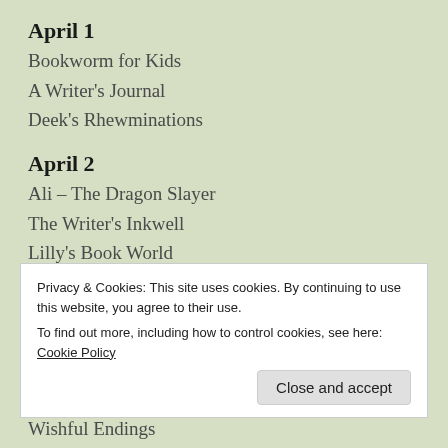April 1
Bookworm for Kids
A Writer's Journal
Deek's Rhewminations
April 2
Ali – The Dragon Slayer
The Writer's Inkwell
Lilly's Book World
April 3
Crazy Beautiful Reads
Wishful Endings
Privacy & Cookies: This site uses cookies. By continuing to use this website, you agree to their use. To find out more, including how to control cookies, see here: Cookie Policy